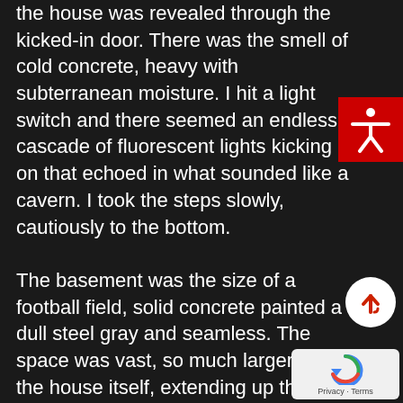the house was revealed through the kicked-in door. There was the smell of cold concrete, heavy with subterranean moisture. I hit a light switch and there seemed an endless cascade of fluorescent lights kicking on that echoed in what sounded like a cavern. I took the steps slowly, cautiously to the bottom.

The basement was the size of a football field, solid concrete painted a dull steel gray and seamless. The space was vast, so much larger than the house itself, extending up the hillside. It seemed a massive fallout shelter. But it was not stocked with food or any living necessities; it was
[Figure (other): Red accessibility icon button with white human figure silhouette]
[Figure (other): White circular scroll-up button with red upward arrow]
[Figure (other): Google reCAPTCHA logo with Privacy and Terms text]